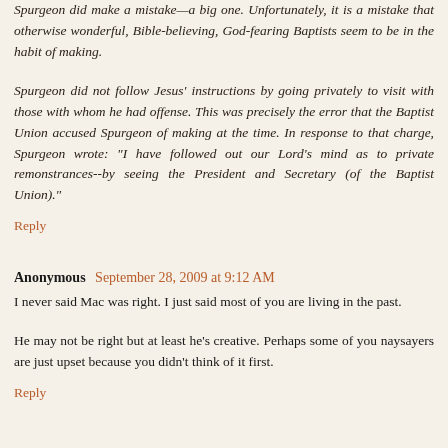Spurgeon did make a mistake—a big one. Unfortunately, it is a mistake that otherwise wonderful, Bible-believing, God-fearing Baptists seem to be in the habit of making.
Spurgeon did not follow Jesus' instructions by going privately to visit with those with whom he had offense. This was precisely the error that the Baptist Union accused Spurgeon of making at the time. In response to that charge, Spurgeon wrote: "I have followed out our Lord's mind as to private remonstrances--by seeing the President and Secretary (of the Baptist Union)."
Reply
Anonymous September 28, 2009 at 9:12 AM
I never said Mac was right. I just said most of you are living in the past.
He may not be right but at least he's creative. Perhaps some of you naysayers are just upset because you didn't think of it first.
Reply